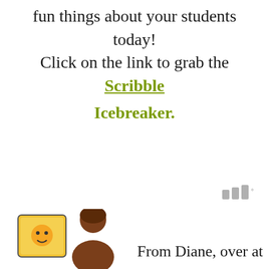fun things about your students today! Click on the link to grab the Scribble Icebreaker.
[Figure (illustration): Cartoon illustration of a teacher figure with a book and a student, partial view at bottom left corner]
From Diane, over at